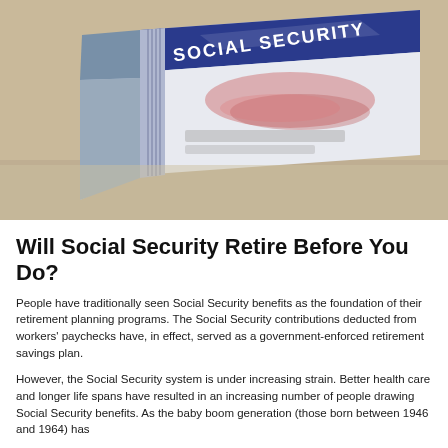[Figure (photo): Close-up photo of a Social Security card at an angle on a light beige/cream surface. The blue card prominently shows 'SOCIAL SECURITY' text at the top. The card details including the name and number are blurred/redacted. The card has a decorative border with vertical stripes on the left side.]
Will Social Security Retire Before You Do?
People have traditionally seen Social Security benefits as the foundation of their retirement planning programs. The Social Security contributions deducted from workers' paychecks have, in effect, served as a government-enforced retirement savings plan.
However, the Social Security system is under increasing strain. Better health care and longer life spans have resulted in an increasing number of people drawing Social Security benefits. As the baby boom generation (those born between 1946 and 1964) has